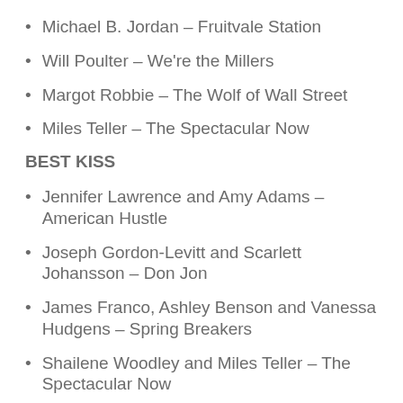Michael B. Jordan – Fruitvale Station
Will Poulter – We're the Millers
Margot Robbie – The Wolf of Wall Street
Miles Teller – The Spectacular Now
BEST KISS
Jennifer Lawrence and Amy Adams – American Hustle
Joseph Gordon-Levitt and Scarlett Johansson – Don Jon
James Franco, Ashley Benson and Vanessa Hudgens – Spring Breakers
Shailene Woodley and Miles Teller – The Spectacular Now
Emma Roberts, Jennifer Aniston and Will…